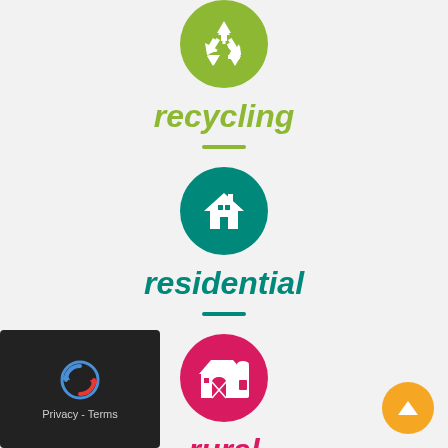[Figure (illustration): Olive green circle icon with white recycling arrows symbol]
recycling
[Figure (illustration): Teal/green circle icon with white house symbol]
residential
[Figure (illustration): Crimson/red circle icon with white barn/farm building symbol]
rural